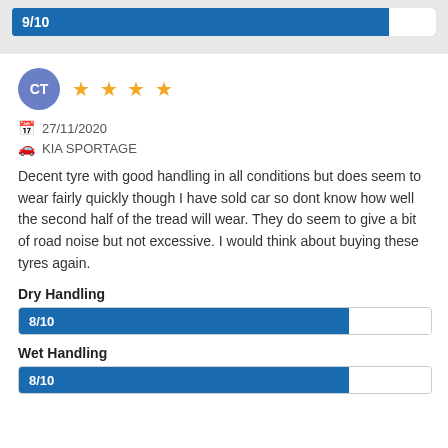[Figure (infographic): Top rating bar showing 9/10 score in blue progress bar on grey background]
CT ★★★★
27/11/2020
KIA SPORTAGE
Decent tyre with good handling in all conditions but does seem to wear fairly quickly though I have sold car so dont know how well the second half of the tread will wear. They do seem to give a bit of road noise but not excessive. I would think about buying these tyres again.
Dry Handling
[Figure (infographic): Dry Handling rating bar showing 8/10]
Wet Handling
[Figure (infographic): Wet Handling rating bar showing 8/10]